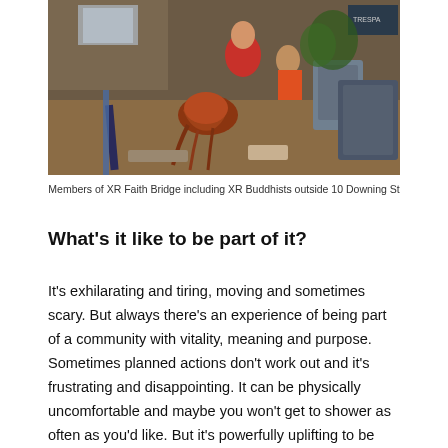[Figure (photo): People sitting and gathered on the floor at what appears to be an indoor protest or event. A person with long red hair is prominent in the foreground, and others are visible in the background with bags and items around them.]
Members of XR Faith Bridge including XR Buddhists outside 10 Downing St
What's it like to be part of it?
It's exhilarating and tiring, moving and sometimes scary. But always there's an experience of being part of a community with vitality, meaning and purpose. Sometimes planned actions don't work out and it's frustrating and disappointing. It can be physically uncomfortable and maybe you won't get to shower as often as you'd like. But it's powerfully uplifting to be taking action in a community which…